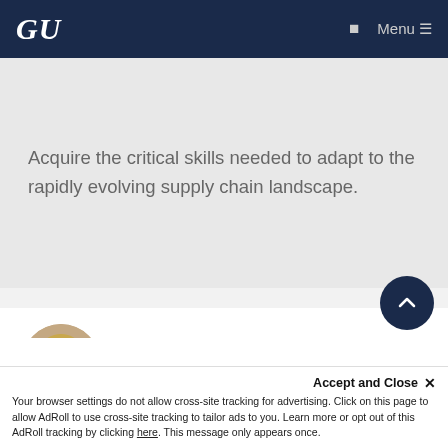GU  Menu
Acquire the critical skills needed to adapt to the rapidly evolving supply chain landscape.
[Figure (photo): Circular headshot photo of Linda Dunn, a woman with blonde hair wearing a dark jacket, against a blurred background.]
Linda Dunn
Linda Dunn, MBA, is the faculty director for the Master's in Supply Chain Management at Georgetown University's School of Continuin…
Accept and Close ×
Your browser settings do not allow cross-site tracking for advertising. Click on this page to allow AdRoll to use cross-site tracking to tailor ads to you. Learn more or opt out of this AdRoll tracking by clicking here. This message only appears once.